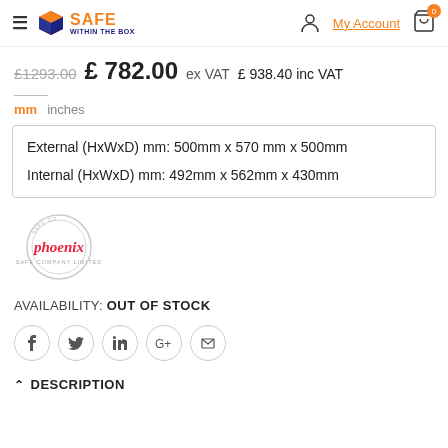Safe Within The Box — My Account — Cart (0)
£1293.00  £ 782.00 ex VAT  £ 938.40 inc VAT
mm  inches
External (HxWxD) mm: 500mm x 570 mm x 500mm
Internal (HxWxD) mm: 492mm x 562mm x 430mm
[Figure (logo): Phoenix Safe Company Limited logo — circular watermark with red cursive 'phoenix' text]
AVAILABILITY: OUT OF STOCK
Social share buttons: Facebook, Twitter, LinkedIn, Google+, Email
DESCRIPTION